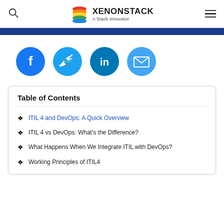XENONSTACK - A Stack Innovator
[Figure (infographic): Social media share icons: Facebook, Twitter, LinkedIn, Email]
Table of Contents
ITIL 4 and DevOps: A Quick Overview
ITIL 4 vs DevOps: What's the Difference?
What Happens When We Integrate ITIL with DevOps?
Working Principles of ITIL4